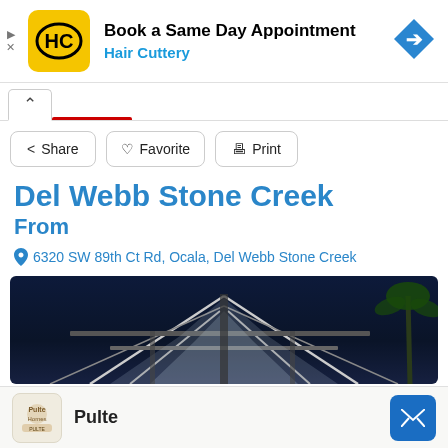[Figure (screenshot): Hair Cuttery advertisement banner with yellow logo, text 'Book a Same Day Appointment' and 'Hair Cuttery', and blue diamond navigation icon]
Share   Favorite   Print
Del Webb Stone Creek
From
6320 SW 89th Ct Rd, Ocala, Del Webb Stone Creek
[Figure (photo): Night-time architectural photo of Del Webb Stone Creek building roofline against dark blue sky with palm tree]
Pulte